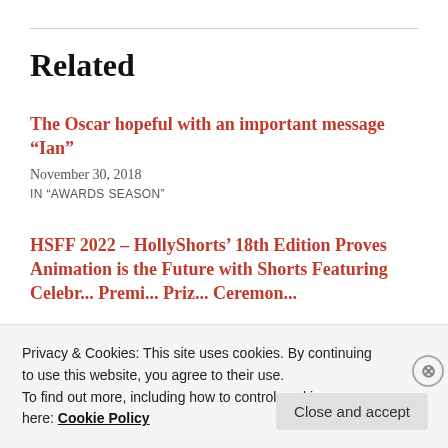Related
The Oscar hopeful with an important message “Ian”
November 30, 2018
IN “AWARDS SEASON”
HSFF 2022 – HollyShorts’ 18th Edition Proves Animation is the Future with Shorts Featuring Celebr... Premi... Priz... Ceremon...
Privacy & Cookies: This site uses cookies. By continuing to use this website, you agree to their use.
To find out more, including how to control cookies, see here: Cookie Policy
Close and accept